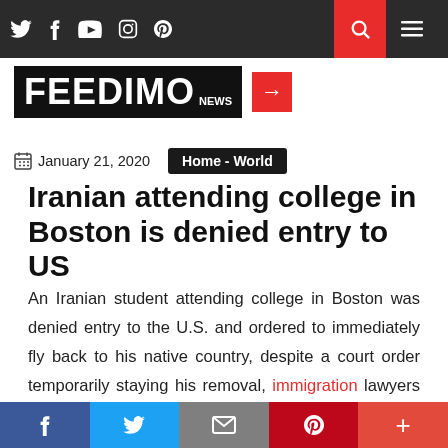FEEDIMO news – Top navigation bar with social icons and search/menu
[Figure (logo): FEEDIMO news logo: white text on black background with red arrow icon]
January 21, 2020  Home - World
Iranian attending college in Boston is denied entry to US
An Iranian student attending college in Boston was denied entry to the U.S. and ordered to immediately fly back to his native country, despite a court order temporarily staying his removal, immigration lawyers and civil rights groups said Tuesday.
Share bar: Facebook, Twitter, Email, Pinterest, More